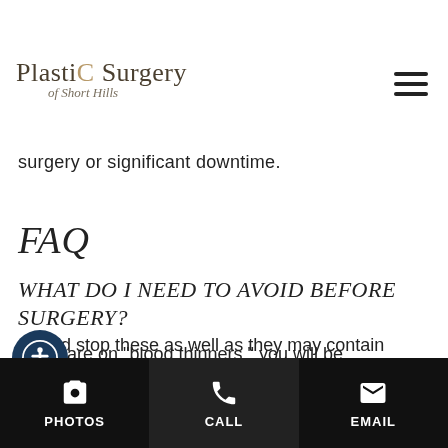Plastic Surgery of Short Hills
surgery or significant downtime.
FAQ
WHAT DO I NEED TO AVOID BEFORE SURGERY?
If you are on "blood thinners," you will be asked to stop them approximately one week prior to surgery. We also ask that you avoid over-the-counter medications such as aspirin, ibuprofen, and also should stop these as well as they may contain
PHOTOS   CALL   EMAIL